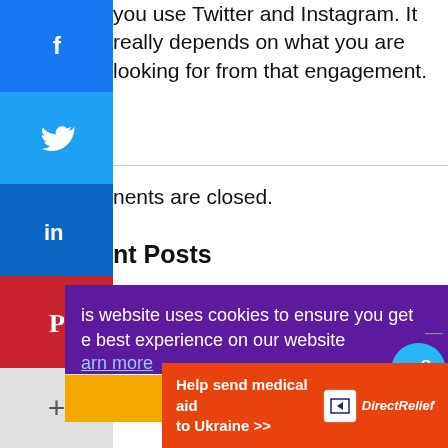you use Twitter and Instagram. It really depends on what you are looking for from that engagement.
nents are closed.
nt Posts
[Figure (screenshot): Social media share sidebar with Facebook (blue), Twitter (light blue), LinkedIn (dark blue), Pinterest (red), and More (+) buttons stacked vertically on the left side of the page.]
is website uses cookies to ensure you get e best experience on our website
arn more
Dismiss
Help send medical aid to Ukraine >>
[Figure (logo): DirectRelief logo with white box icon and italic text on orange background]